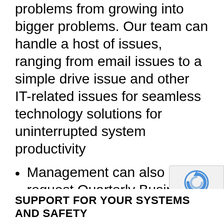problems from growing into bigger problems. Our team can handle a host of issues, ranging from email issues to a simple drive issue and other IT-related issues for seamless technology solutions for uninterrupted system productivity
Management can also request Quarterly Business Reviews and an Annual System Recommendation to plan for changes that will benefit your business and your business technology
SUPPORT FOR YOUR SYSTEMS AND SAFETY